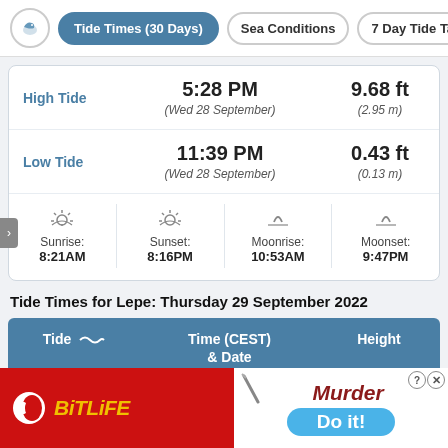Tide Times (30 Days) | Sea Conditions | 7 Day Tide Tab
|  | Time | Height |
| --- | --- | --- |
| High Tide | 5:28 PM
(Wed 28 September) | 9.68 ft
(2.95 m) |
| Low Tide | 11:39 PM
(Wed 28 September) | 0.43 ft
(0.13 m) |
| Sunrise: 8:21AM | Sunset: 8:16PM | Moonrise: 10:53AM | Moonset: 9:47PM |  |  |
Tide Times for Lepe: Thursday 29 September 2022
| Tide | Time (CEST)
& Date | Height |
| --- | --- | --- |
[Figure (screenshot): Advertisement banner for BitLife app showing red background with logo on left, and 'Murder / Do it!' text with blue button on right]